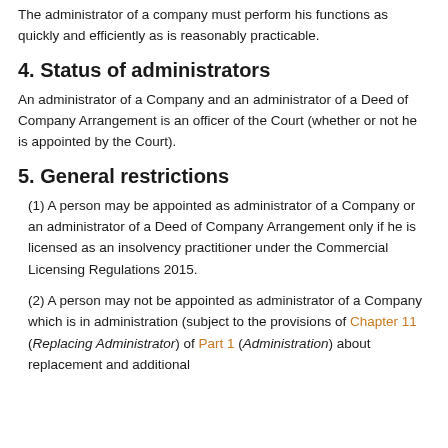The administrator of a company must perform his functions as quickly and efficiently as is reasonably practicable.
4. Status of administrators
An administrator of a Company and an administrator of a Deed of Company Arrangement is an officer of the Court (whether or not he is appointed by the Court).
5. General restrictions
(1) A person may be appointed as administrator of a Company or an administrator of a Deed of Company Arrangement only if he is licensed as an insolvency practitioner under the Commercial Licensing Regulations 2015.
(2) A person may not be appointed as administrator of a Company which is in administration (subject to the provisions of Chapter 11 (Replacing Administrator) of Part 1 (Administration) about replacement and additional